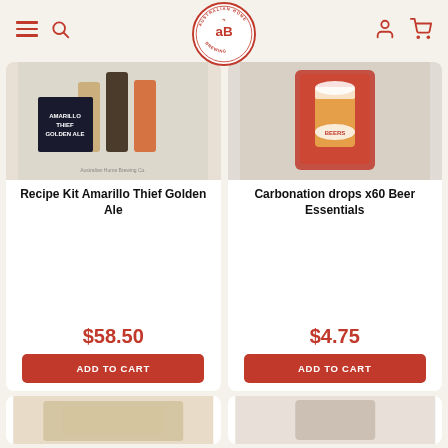Australian Home Brewing - navigation header with logo, menu, search, user, and cart icons
[Figure (photo): Product image for Recipe Kit Amarillo Thief Golden Ale showing beer glasses and product box]
Recipe Kit Amarillo Thief Golden Ale
$58.50
ADD TO CART
[Figure (photo): Product image for Carbonation drops x60 Beer Essentials showing bag with beer glass]
Carbonation drops x60 Beer Essentials
$4.75
ADD TO CART
[Figure (photo): Partial product image at bottom left, partially visible]
[Figure (photo): Partial product image at bottom right, partially visible]